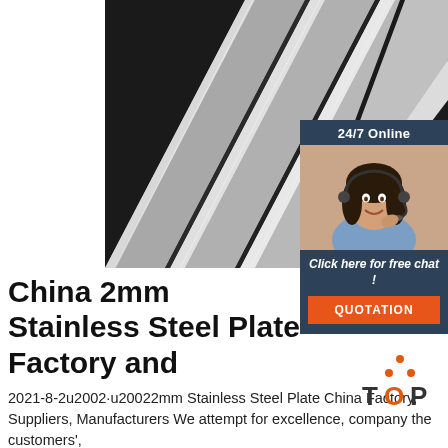[Figure (photo): Photo of stainless steel flat bars/plates stacked closely together, metallic silver finish, dark background]
[Figure (photo): 24/7 Online chat widget with dark navy background showing a female customer service agent wearing a headset, smiling. Includes 'Click here for free chat!' text and an orange QUOTATION button.]
China 2mm Stainless Steel Plate Factory and
[Figure (logo): TOP logo with orange triangle/dots motif above the letters TOP in dark grey/orange]
2021-8-2u2002·u20022mm Stainless Steel Plate China Factory, Suppliers, Manufacturers We attempt for excellence, company the customers',